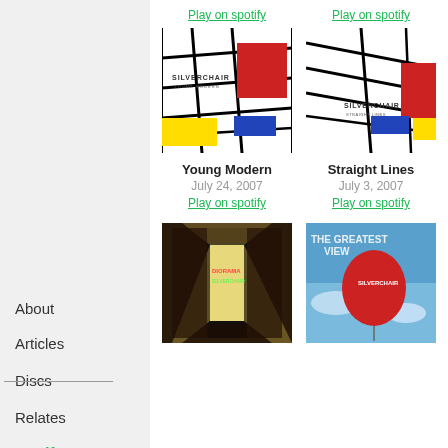Play on spotify (top left)
Play on spotify (top right)
[Figure (illustration): Silverchair Young Modern album art - Mondrian-style geometric art with red, blue, yellow rectangles on white background with black grid lines, text 'SILVERCHAIR YOUNG MODERN']
[Figure (illustration): Silverchair Straight Lines album art - Mondrian-style geometric art with red, blue, yellow rectangles on white background with black grid lines, text 'SILVERCHAIR STRAIGHT LINES']
Young Modern
July 24, 2007
Play on spotify
Straight Lines
July 3, 2007
Play on spotify
[Figure (illustration): Silverchair Diorama album art - dark room with glowing door, colorful text]
[Figure (illustration): The Greatest View single art - red balloon with Silverchair text against blue sky]
About
Articles
Discs
Relates
Spotify
Amazon